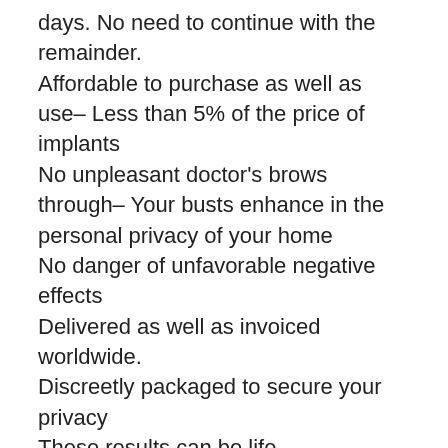days. No need to continue with the remainder. Affordable to purchase as well as use– Less than 5% of the price of implants No unpleasant doctor's brows through– Your busts enhance in the personal privacy of your home No danger of unfavorable negative effects Delivered as well as invoiced worldwide. Discreetly packaged to secure your privacy These results can be life transforming. They will certainly make you fearless and confident about your feminineness, attractiveness and also sex appeal.
What results can you get out of Breast Actives?